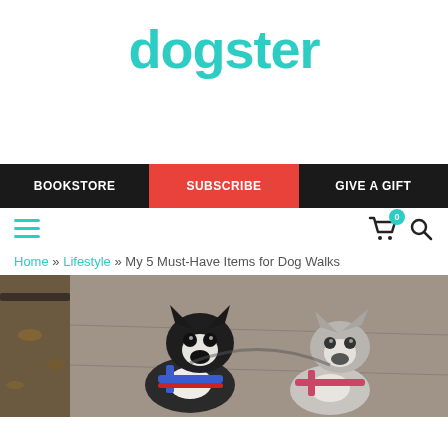[Figure (logo): Dogster logo in teal/turquoise color]
BOOKSTORE | SUBSCRIBE | GIVE A GIFT
Home » Lifestyle » My 5 Must-Have Items for Dog Walks
[Figure (photo): Two small dogs wearing harnesses sitting on pavement outdoors]